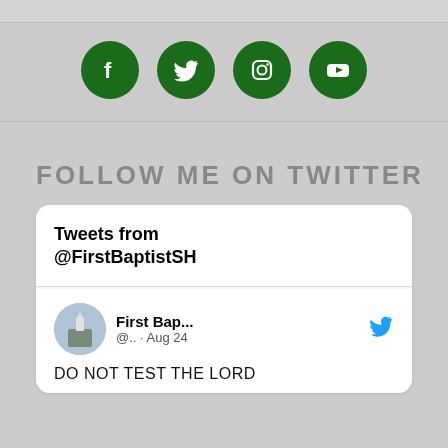[Figure (infographic): Four green circular social media icons: Facebook, Twitter, Instagram, YouTube]
FOLLOW ME ON TWITTER
Tweets from @FirstBaptistSH
First Bap... @.. · Aug 24
DO NOT TEST THE LORD